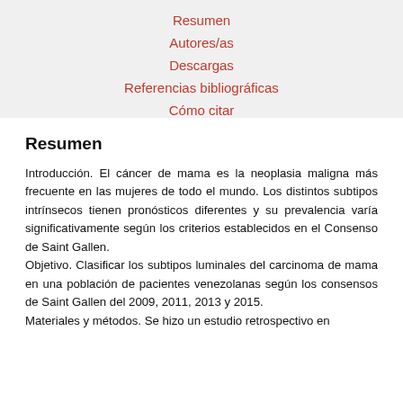Resumen
Autores/as
Descargas
Referencias bibliográficas
Cómo citar
Resumen
Introducción. El cáncer de mama es la neoplasia maligna más frecuente en las mujeres de todo el mundo. Los distintos subtipos intrínsecos tienen pronósticos diferentes y su prevalencia varía significativamente según los criterios establecidos en el Consenso de Saint Gallen.
Objetivo. Clasificar los subtipos luminales del carcinoma de mama en una población de pacientes venezolanas según los consensos de Saint Gallen del 2009, 2011, 2013 y 2015.
Materiales y métodos. Se hizo un estudio retrospectivo en